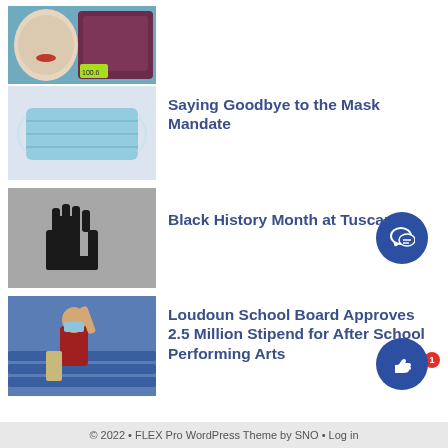[Figure (photo): Photo of items on a blue surface, possibly a face mask or makeup items with a price tag visible]
[Figure (photo): Photo of a light blue surgical/disposable face mask on a pale lavender background]
Saying Goodbye to the Mask Mandate
[Figure (photo): Black and white photo of a raised fist against a textured background]
Black History Month at Tuscarora
[Figure (photo): Photo of a person in a red shirt and mask raising their hand in what appears to be a school auditorium or gym]
Loudoun School Board Approves 2.5 Million Stipend for After School Performing Arts
© 2022 • FLEX Pro WordPress Theme by SNO • Log in